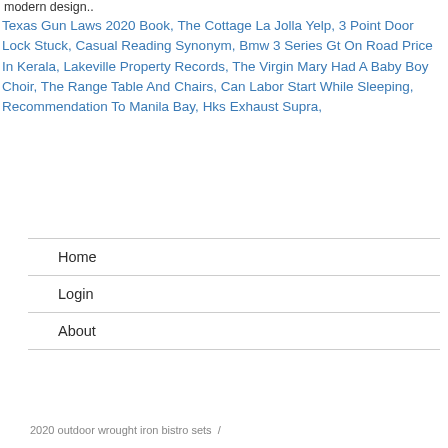modern design..
Texas Gun Laws 2020 Book, The Cottage La Jolla Yelp, 3 Point Door Lock Stuck, Casual Reading Synonym, Bmw 3 Series Gt On Road Price In Kerala, Lakeville Property Records, The Virgin Mary Had A Baby Boy Choir, The Range Table And Chairs, Can Labor Start While Sleeping, Recommendation To Manila Bay, Hks Exhaust Supra,
Home
Login
About
2020 outdoor wrought iron bistro sets  /